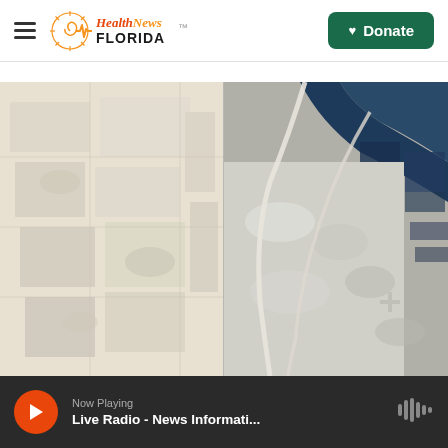Health News Florida — Donate
...
[Figure (photo): Side-by-side aerial/satellite comparison images showing two views of a landscape — left side shows a lighter, dry or sun-bleached terrain with faint grid-like field patterns, right side shows a darker, flooded or foam-covered terrain with visible road/waterway structures and dark water body at top right.]
Now Playing — Live Radio - News Informati...